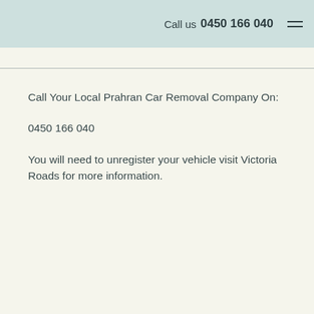Call us 0450 166 040
Call Your Local Prahran Car Removal Company On:
0450 166 040
You will need to unregister your vehicle visit Victoria Roads for more information.